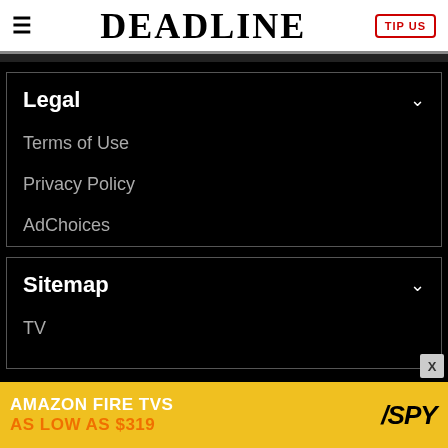DEADLINE
Legal
Terms of Use
Privacy Policy
AdChoices
Sitemap
TV
[Figure (infographic): Amazon Fire TVs advertisement banner: 'AMAZON FIRE TVS AS LOW AS $319' with SPY logo on yellow background]